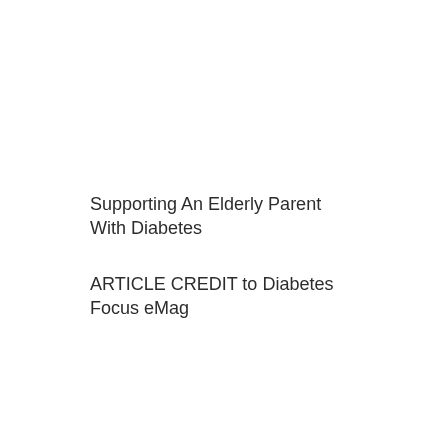Supporting An Elderly Parent With Diabetes
ARTICLE  CREDIT to Diabetes Focus eMag